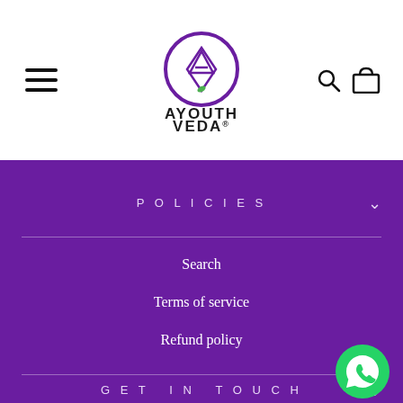[Figure (logo): AYouth Veda logo: purple circular emblem with stylized A and diamond shape, with text AYOUTH VEDA below and registered trademark symbol]
Navigation header with hamburger menu, AYouth Veda logo, search and cart icons
POLICIES
Search
Terms of service
Refund policy
GET IN TOUCH